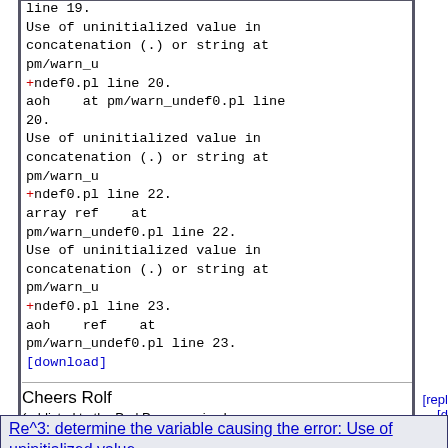line 19.
Use of uninitialized value in concatenation (.) or string at pm/warn_u
+ndef0.pl line 20.
aoh    at pm/warn_undef0.pl line 20.
Use of uninitialized value in concatenation (.) or string at pm/warn_u
+ndef0.pl line 22.
array ref    at pm/warn_undef0.pl line 22.
Use of uninitialized value in concatenation (.) or string at pm/warn_u
+ndef0.pl line 23.
aoh    ref    at pm/warn_undef0.pl line 23.
[download]
Cheers Rolf
(addicted to the Perl Programming Language and ☆☆☆☆☆ :)
Je suis Charlie!
[reply]
[d/l]
Re^3: determine the variable causing the error: Use of uninitialized value